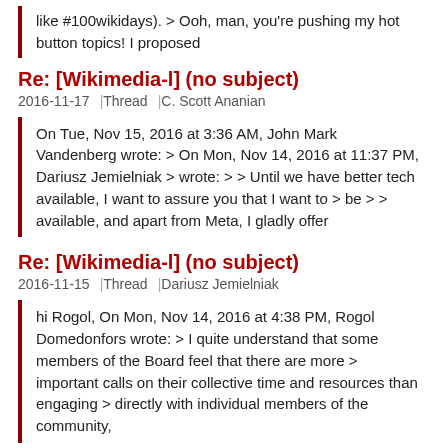like #100wikidays). > Ooh, man, you're pushing my hot button topics! I proposed
Re: [Wikimedia-l] (no subject)
2016-11-17 | Thread | C. Scott Ananian
On Tue, Nov 15, 2016 at 3:36 AM, John Mark Vandenberg wrote: > On Mon, Nov 14, 2016 at 11:37 PM, Dariusz Jemielniak > wrote: > > Until we have better tech available, I want to assure you that I want to > be > > available, and apart from Meta, I gladly offer
Re: [Wikimedia-l] (no subject)
2016-11-15 | Thread | Dariusz Jemielniak
hi Rogol, On Mon, Nov 14, 2016 at 4:38 PM, Rogol Domedonfors wrote: > I quite understand that some members of the Board feel that there are more > important calls on their collective time and resources than engaging > directly with individual members of the community,
Re: [Wikimedia-l] (no subject)
2016-11-15 | Thread | K. Peachey
On 15 November 2016 at 18:36, John Mark Vandenberg